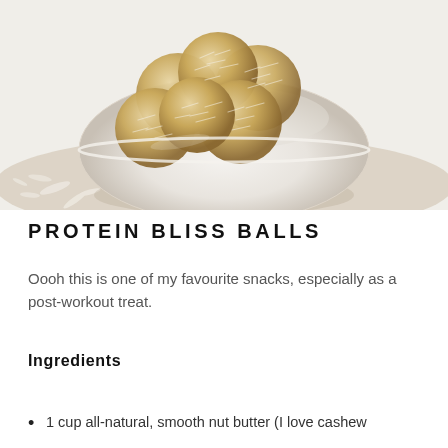[Figure (photo): A white ceramic bowl filled with coconut-coated protein bliss balls, sitting on a beige linen cloth with scattered shredded coconut in the foreground.]
PROTEIN BLISS BALLS
Oooh this is one of my favourite snacks, especially as a post-workout treat.
Ingredients
1 cup all-natural, smooth nut butter (I love cashew